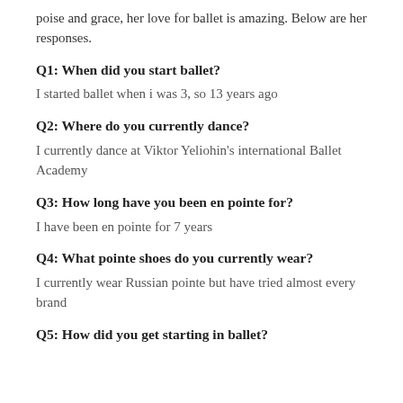poise and grace, her love for ballet is amazing. Below are her responses.
Q1: When did you start ballet?
I started ballet when i was 3, so 13 years ago
Q2: Where do you currently dance?
I currently dance at Viktor Yeliohin's international Ballet Academy
Q3: How long have you been en pointe for?
I have been en pointe for 7 years
Q4: What pointe shoes do you currently wear?
I currently wear Russian pointe but have tried almost every brand
Q5: How did you get starting in ballet?